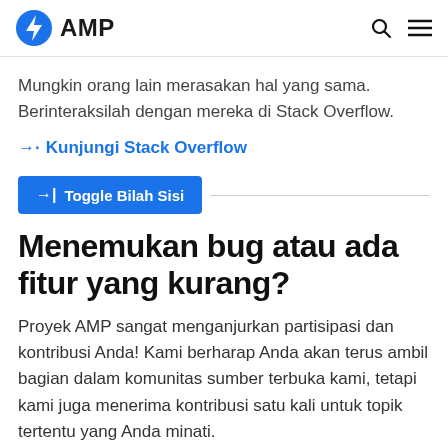AMP
Mungkin orang lain merasakan hal yang sama. Berinteraksilah dengan mereka di Stack Overflow.
→· Kunjungi Stack Overflow
→| Toggle Bilah Sisi
Menemukan bug atau ada fitur yang kurang?
Proyek AMP sangat menganjurkan partisipasi dan kontribusi Anda! Kami berharap Anda akan terus ambil bagian dalam komunitas sumber terbuka kami, tetapi kami juga menerima kontribusi satu kali untuk topik tertentu yang Anda minati.